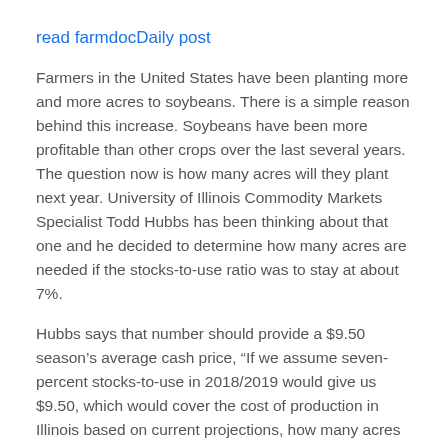read farmdocDaily post
Farmers in the United States have been planting more and more acres to soybeans. There is a simple reason behind this increase. Soybeans have been more profitable than other crops over the last several years. The question now is how many acres will they plant next year. University of Illinois Commodity Markets Specialist Todd Hubbs has been thinking about that one and he decided to determine how many acres are needed if the stocks-to-use ratio was to stay at about 7%.
Hubbs says that number should provide a $9.50 season’s average cash price, “If we assume seven-percent stocks-to-use in 2018/2019 would give us $9.50, which would cover the cost of production in Illinois based on current projections, how many acres of soybeans national under those assumptions would we need given a trend yield? Based on a trend yield of about 46.8 bushels to the acre,